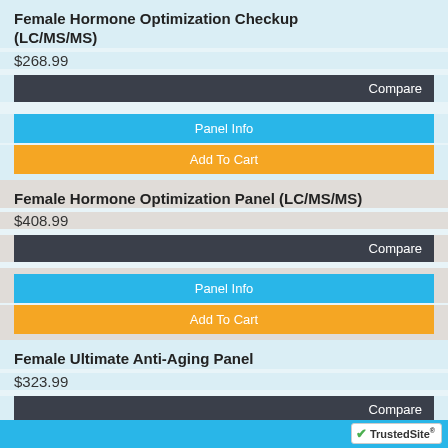Female Hormone Optimization Checkup (LC/MS/MS)
$268.99
Compare
Panel Info
Add To Cart
Female Hormone Optimization Panel (LC/MS/MS)
$408.99
Compare
Panel Info
Add To Cart
Female Ultimate Anti-Aging Panel
$323.99
Compare